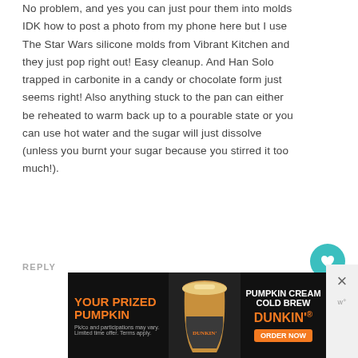No problem, and yes you can just pour them into molds IDK how to post a photo from my phone here but I use The Star Wars silicone molds from Vibrant Kitchen and they just pop right out! Easy cleanup. And Han Solo trapped in carbonite in a candy or chocolate form just seems right! Also anything stuck to the pan can either be reheated to warm back up to a pourable state or you can use hot water and the sugar will just dissolve (unless you burnt your sugar because you stirred it too much!).
REPLY
[Figure (other): Teal heart like button (38 likes) and share button on the right side of the comment]
[Figure (other): Dunkin' Pumpkin Cream Cold Brew advertisement banner with orange text 'YOUR PRIZED PUMPKIN' and Dunkin' logo with ORDER NOW button]